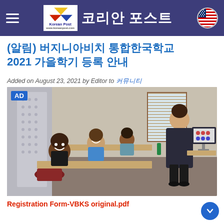코리안 포스트 (Korean Post)
(알림) 버지니아비치 통합한국학교 2021 가을학기 등록 안내
Added on August 23, 2021 by Editor to 커뮤니티
[Figure (photo): Classroom scene with three children seated at desks smiling at camera and a female teacher standing near a whiteboard/screen on the right side of the room. An AD badge is shown in the top-left corner.]
Registration Form-VBKS original.pdf